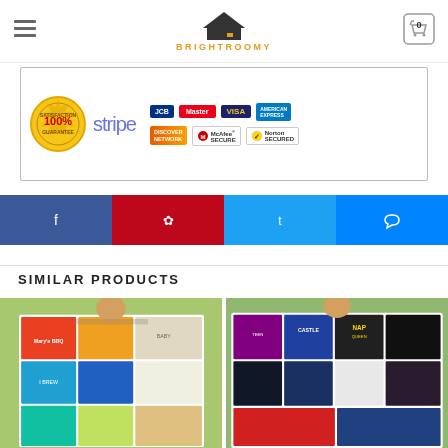BRIGHTROOMY
[Figure (infographic): Trust and payment badges banner: 100% Satisfaction Guarantee seal, Stripe logo, JCB, Mastercard, Visa, American Express, Discover Network, McAfee Secure, Norton Secured by VeriSign]
[Figure (infographic): Social sharing buttons: Facebook, Pinterest, Twitter, Messenger]
SIMILAR PRODUCTS
[Figure (photo): Woman holding a colorful patchwork quilt outdoors with various graphic panels including pigs, waves, and text 'Mary's BBQ' and 'I Brew']
[Figure (photo): Woman holding a colorful patchwork quilt outdoors with panels including castles, queens, NAP text, and fantasy/villain characters]